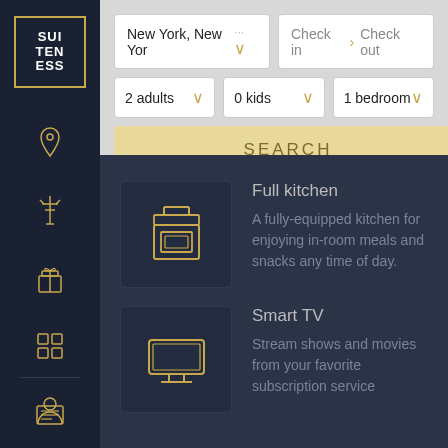[Figure (screenshot): Suiteness hotel booking app screenshot showing search form with location 'New York, New York', check in/out fields, 2 adults, 0 kids, 1 bedroom dropdowns and a SEARCH button, with amenity listings for Full kitchen and Smart TV on dark navy background with gold sidebar icons.]
New York, New Yor ...
Check in  > Check out
2 adults
0 kids
1 bedroom
SEARCH
Full kitchen
A fully-equipped kitchen for enjoying in-room meals and snacks any time of day.
Smart TV
Stream shows and movies from your favorite subscription service